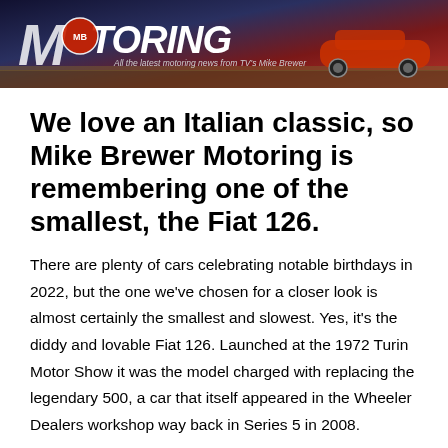[Figure (photo): Mike Brewer Motoring website header banner with logo text and tagline 'All the latest motoring news from TV's Mike Brewer']
We love an Italian classic, so Mike Brewer Motoring is remembering one of the smallest, the Fiat 126.
There are plenty of cars celebrating notable birthdays in 2022, but the one we've chosen for a closer look is almost certainly the smallest and slowest. Yes, it's the diddy and lovable Fiat 126. Launched at the 1972 Turin Motor Show it was the model charged with replacing the legendary 500, a car that itself appeared in the Wheeler Dealers workshop way back in Series 5 in 2008.